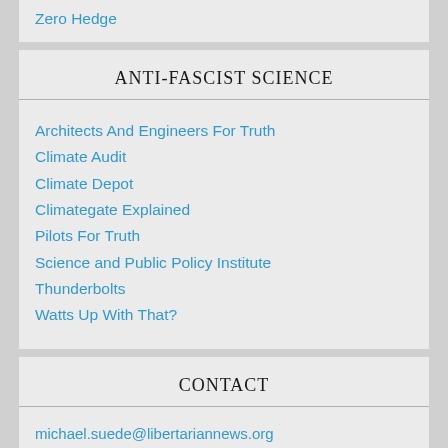Zero Hedge
ANTI-FASCIST SCIENCE
Architects And Engineers For Truth
Climate Audit
Climate Depot
Climategate Explained
Pilots For Truth
Science and Public Policy Institute
Thunderbolts
Watts Up With That?
CONTACT
michael.suede@libertariannews.org
ECONOMISTS